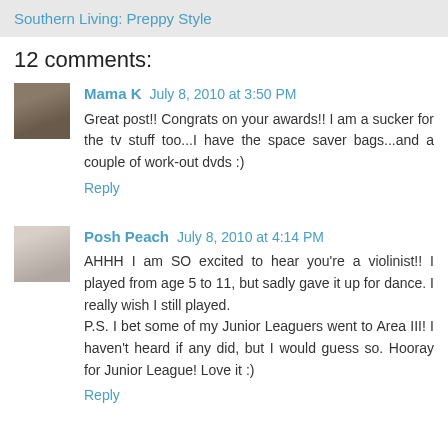Southern Living: Preppy Style
12 comments:
Mama K  July 8, 2010 at 3:50 PM
Great post!! Congrats on your awards!! I am a sucker for the tv stuff too...I have the space saver bags...and a couple of work-out dvds :)
Reply
Posh Peach  July 8, 2010 at 4:14 PM
AHHH I am SO excited to hear you're a violinist!! I played from age 5 to 11, but sadly gave it up for dance. I really wish I still played.
P.S. I bet some of my Junior Leaguers went to Area III! I haven't heard if any did, but I would guess so. Hooray for Junior League! Love it :)
Reply